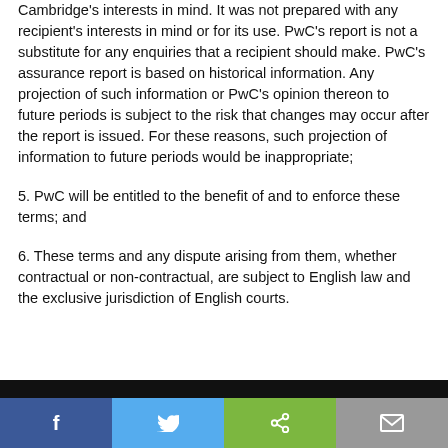Cambridge's interests in mind. It was not prepared with any recipient's interests in mind or for its use. PwC's report is not a substitute for any enquiries that a recipient should make. PwC's assurance report is based on historical information. Any projection of such information or PwC's opinion thereon to future periods is subject to the risk that changes may occur after the report is issued. For these reasons, such projection of information to future periods would be inappropriate;
5. PwC will be entitled to the benefit of and to enforce these terms; and
6. These terms and any dispute arising from them, whether contractual or non-contractual, are subject to English law and the exclusive jurisdiction of English courts.
Social sharing bar: Facebook, Twitter, Share, Email